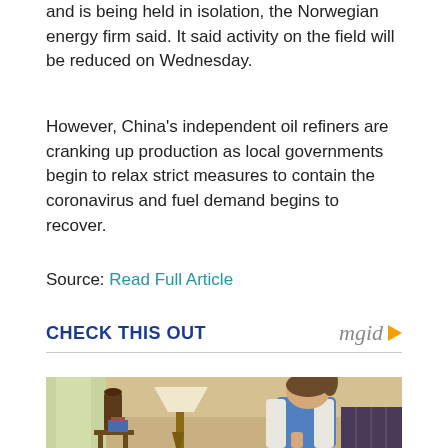and is being held in isolation, the Norwegian energy firm said. It said activity on the field will be reduced on Wednesday.
However, China's independent oil refiners are cranking up production as local governments begin to relax strict measures to contain the coronavirus and fuel demand begins to recover.
Source: Read Full Article
CHECK THIS OUT
[Figure (photo): A woman with brown hair in a ponytail sitting on a sofa in a living room, wearing a blue top and white cardigan, looking downward. A lamp and furniture visible in the background.]